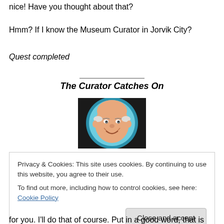nice! Have you thought about that?
Hmm? If I know the Museum Curator in Jorvik City?
Quest completed
The Curator Catches On
[Figure (illustration): Circular avatar portrait of a bald, elderly cartoon man with a smirk, set against a light blue circular background with dark outer ring]
Privacy & Cookies: This site uses cookies. By continuing to use this website, you agree to their use.
To find out more, including how to control cookies, see here: Cookie Policy
for you. I'll do that of course. Put in a good word, that is